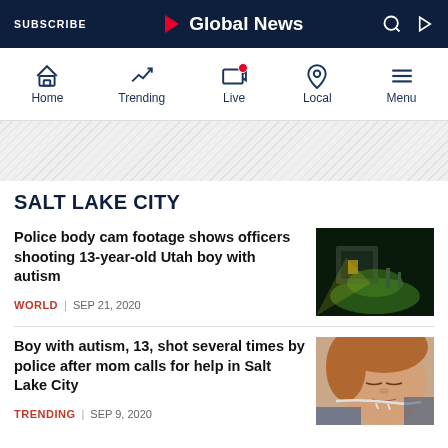SUBSCRIBE | Global News
[Figure (screenshot): Navigation bar with Home, Trending, Live, Local, Menu icons]
[Figure (other): Diagonal striped ad banner placeholder]
SALT LAKE CITY
Police body cam footage shows officers shooting 13-year-old Utah boy with autism
WORLD | SEP 21, 2020
[Figure (photo): Night scene photo showing a house with green lawn lit by police spotlight]
Boy with autism, 13, shot several times by police after mom calls for help in Salt Lake City
TRENDING | SEP 9, 2020
[Figure (photo): Photo of a young boy with medical tubes, lying in a hospital bed]